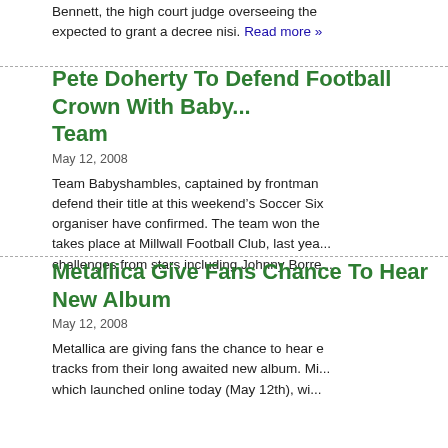Bennett, the high court judge overseeing the case, is expected to grant a decree nisi. Read more »
Pete Doherty To Defend Football Crown With Babyshambles Team
May 12, 2008
Team Babyshambles, captained by frontman Pete Doherty, will defend their title at this weekend's Soccer Six charity event, organiser have confirmed. The team won the competition, which takes place at Millwall Football Club, last year and will face challenges from stars including Johnny Borre...
Metallica Give Fans Chance To Hear New Album
May 12, 2008
Metallica are giving fans the chance to hear exclusive tracks from their long awaited new album. Mi... which launched online today (May 12th), wi...